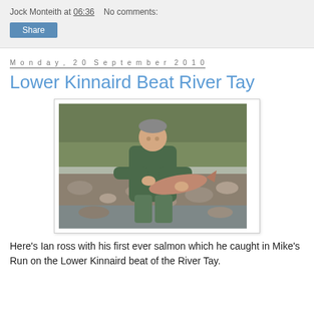Jock Monteith at 06:36   No comments:
Share
Monday, 20 September 2010
Lower Kinnaird Beat River Tay
[Figure (photo): Man in green waders and jacket kneeling on a rocky riverbank holding a large salmon fish, smiling at the camera. Trees and shrubs visible in the background.]
Here's Ian ross with his first ever salmon which he caught in Mike's Run on the Lower Kinnaird beat of the River Tay.